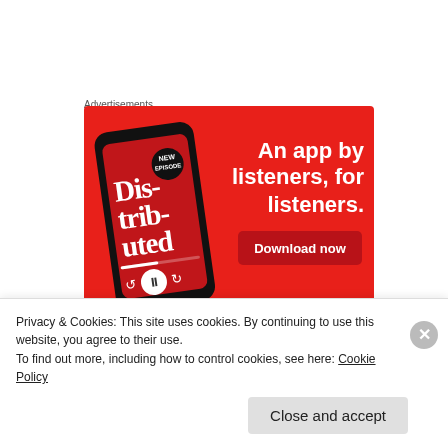Advertisements
[Figure (illustration): Red advertisement banner for a podcast app. Shows a smartphone with 'Dis-tri-bu-ted' text on screen, alongside the headline 'An app by listeners, for listeners.' and a 'Download now' button.]
#1 Always Smile Because
Privacy & Cookies: This site uses cookies. By continuing to use this website, you agree to their use.
To find out more, including how to control cookies, see here: Cookie Policy
Close and accept